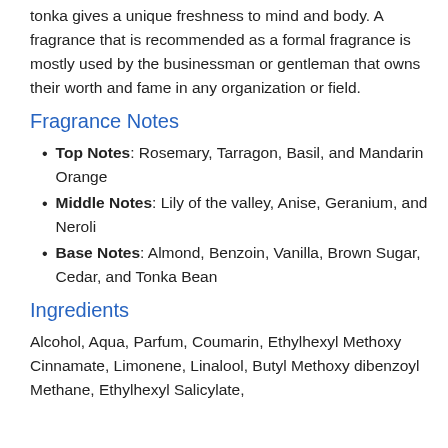tonka gives a unique freshness to mind and body. A fragrance that is recommended as a formal fragrance is mostly used by the businessman or gentleman that owns their worth and fame in any organization or field.
Fragrance Notes
Top Notes: Rosemary, Tarragon, Basil, and Mandarin Orange
Middle Notes: Lily of the valley, Anise, Geranium, and Neroli
Base Notes: Almond, Benzoin, Vanilla, Brown Sugar, Cedar, and Tonka Bean
Ingredients
Alcohol, Aqua, Parfum, Coumarin, Ethylhexyl Methoxy Cinnamate, Limonene, Linalool, Butyl Methoxy dibenzoyl Methane, Ethylhexyl Salicylate,